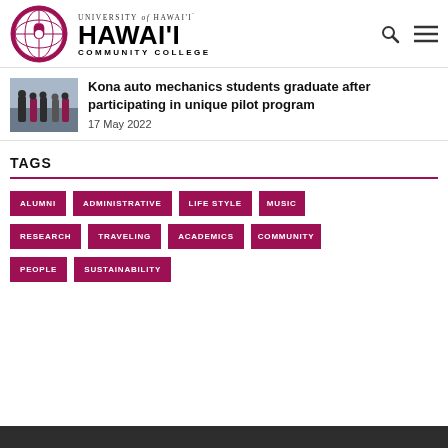University of Hawaiʻi — Hawaiʻi Community College
[Figure (photo): Thumbnail photo of auto mechanics students outdoors]
Kona auto mechanics students graduate after participating in unique pilot program
17 May 2022
TAGS
ALUMNI
ADMINISTRATIVE
LIFE STYLE
MUSIC
RESEARCH
TRAVELING
ACADEMICS
COMMUNITY
PEOPLE
SUSTAINABILITY